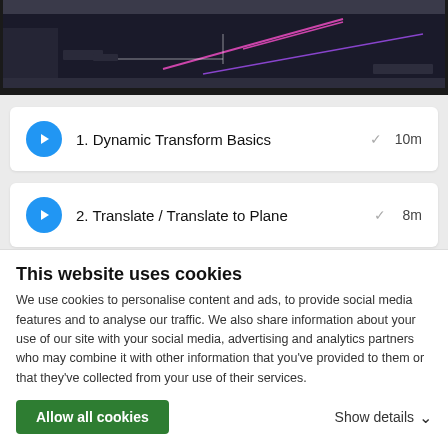[Figure (screenshot): Dark-themed CAD/engineering software screenshot showing geometric lines in pink and purple on a dark background with toolbar]
1. Dynamic Transform Basics — 10m
2. Translate / Translate to Plane — 8m
3. Transform Rotate — 8m — 3332-21 You can rotate parts to move or copy them as well! Watch this video to learn how to use the Rotate function, and see how the options available can get very different results.
This website uses cookies
We use cookies to personalise content and ads, to provide social media features and to analyse our traffic. We also share information about your use of our site with your social media, advertising and analytics partners who may combine it with other information that you've provided to them or that they've collected from your use of their services.
Allow all cookies
Show details